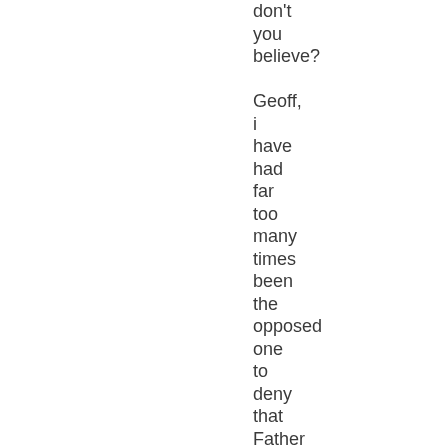don't you believe? Geoff, i have had far too many times been the opposed one to deny that Father hears our prayers. I will not go ight...